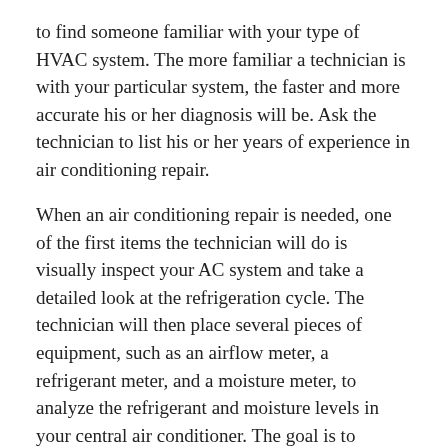to find someone familiar with your type of HVAC system. The more familiar a technician is with your particular system, the faster and more accurate his or her diagnosis will be. Ask the technician to list his or her years of experience in air conditioning repair.
When an air conditioning repair is needed, one of the first items the technician will do is visually inspect your AC system and take a detailed look at the refrigeration cycle. The technician will then place several pieces of equipment, such as an airflow meter, a refrigerant meter, and a moisture meter, to analyze the refrigerant and moisture levels in your central air conditioner. The goal is to pinpoint the problem's source, such as a leak or dirty refrigerant line. The technician may also need to conduct additional tests, such as a carbon monoxide test, to verify the carbon monoxide detector's source in your home.